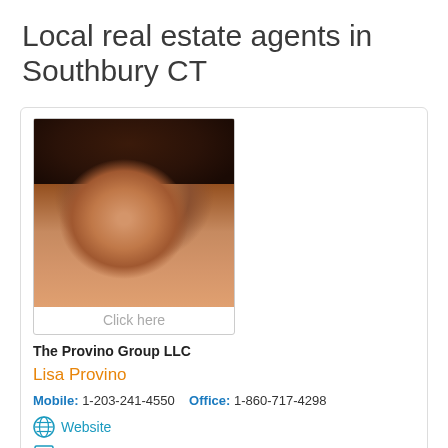Local real estate agents in Southbury CT
[Figure (photo): Headshot photo of Lisa Provino, a woman with dark hair, smiling, against a warm indoor background]
Click here
The Provino Group LLC
Lisa Provino
Mobile: 1-203-241-4550   Office: 1-860-717-4298
Website
Agent Listings